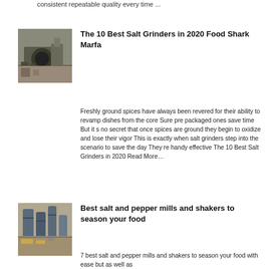consistent repeatable quality every time ...
The 10 Best Salt Grinders in 2020 Food Shark Marfa
[Figure (photo): Industrial machine or crusher equipment outdoors]
Freshly ground spices have always been revered for their ability to revamp dishes from the core Sure pre packaged ones save time But it s no secret that once spices are ground they begin to oxidize and lose their vigor This is exactly when salt grinders step into the scenario to save the day They re handy effective The 10 Best Salt Grinders in 2020 Read More…
Best salt and pepper mills and shakers to season your food
[Figure (photo): Industrial storage tanks or silos at a facility]
7 best salt and pepper mills and shakers to season your food with ease but as well as